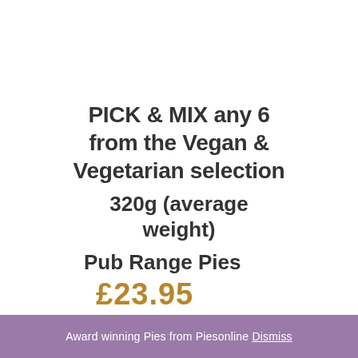PICK & MIX any 6 from the Vegan & Vegetarian selection
320g (average weight)
Pub Range Pies
£23.95
Award winning Pies from Piesonline Dismiss